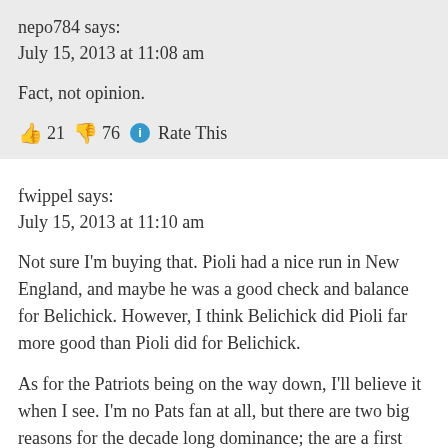nepo784 says:
July 15, 2013 at 11:08 am
Fact, not opinion.
👍 21 👎 76 ℹ Rate This
fwippel says:
July 15, 2013 at 11:10 am
Not sure I'm buying that. Pioli had a nice run in New England, and maybe he was a good check and balance for Belichick. However, I think Belichick did Pioli far more good than Pioli did for Belichick.
As for the Patriots being on the way down, I'll believe it when I see. I'm no Pats fan at all, but there are two big reasons for the decade long dominance; the are a first class organization with an outstanding head coach, and they play in a division with three other teams that can't get their act together for more